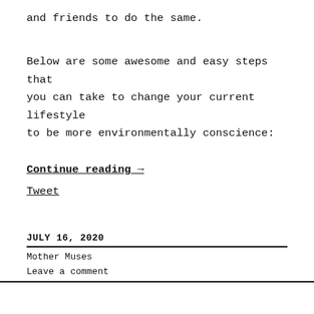and friends to do the same.
Below are some awesome and easy steps that you can take to change your current lifestyle to be more environmentally conscience:
Continue reading →
Tweet
JULY 16, 2020
Mother Muses
Leave a comment